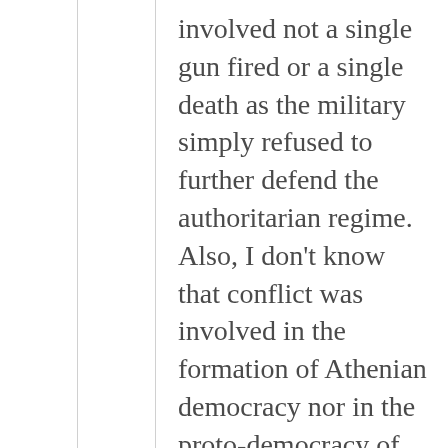involved not a single gun fired or a single death as the military simply refused to further defend the authoritarian regime. Also, I don't know that conflict was involved in the formation of Athenian democracy nor in the proto-democracy of Native American tribal governments where originated the US separation of powers.